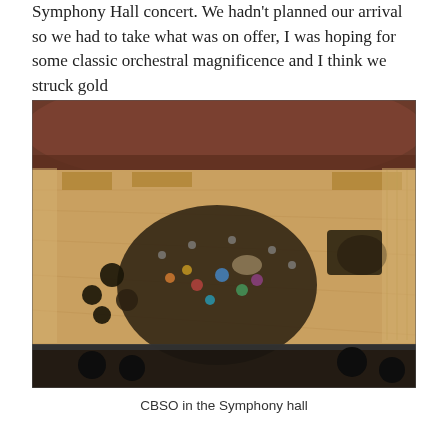Symphony Hall concert. We hadn't planned our arrival so we had to take what was on offer, I was hoping for some classic orchestral magnificence and I think we struck gold
[Figure (photo): Aerial/overhead view of the CBSO (City of Birmingham Symphony Orchestra) performing on stage in the Symphony Hall. The wooden stage floor is visible with musicians arranged in the typical orchestral formation. The hall's distinctive curved balcony and acoustic panels are visible in the background.]
CBSO in the Symphony hall